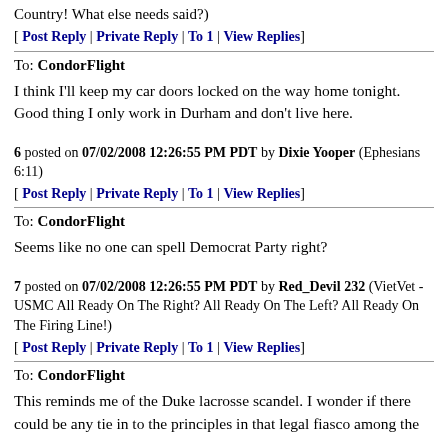Country! What else needs said?)
[ Post Reply | Private Reply | To 1 | View Replies]
To: CondorFlight
I think I'll keep my car doors locked on the way home tonight. Good thing I only work in Durham and don't live here.
6 posted on 07/02/2008 12:26:55 PM PDT by Dixie Yooper (Ephesians 6:11)
[ Post Reply | Private Reply | To 1 | View Replies]
To: CondorFlight
Seems like no one can spell Democrat Party right?
7 posted on 07/02/2008 12:26:55 PM PDT by Red_Devil 232 (VietVet - USMC All Ready On The Right? All Ready On The Left? All Ready On The Firing Line!)
[ Post Reply | Private Reply | To 1 | View Replies]
To: CondorFlight
This reminds me of the Duke lacrosse scandel. I wonder if there could be any tie in to the principles in that legal fiasco among the